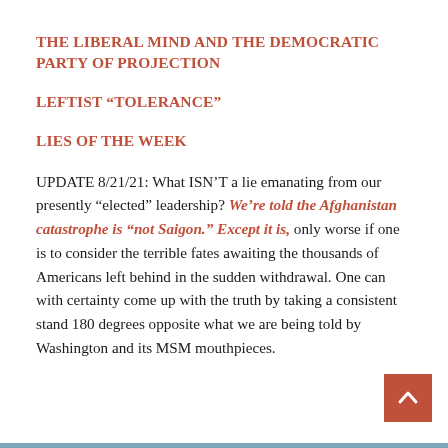THE LIBERAL MIND and THE DEMOCRATIC PARTY OF PROJECTION
LEFTIST “TOLERANCE”
LIES OF THE WEEK
UPDATE 8/21/21: What ISN’T a lie emanating from our presently “elected” leadership? We’re told the Afghanistan catastrophe is “not Saigon.” Except it is, only worse if one is to consider the terrible fates awaiting the thousands of Americans left behind in the sudden withdrawal. One can with certainty come up with the truth by taking a consistent stand 180 degrees opposite what we are being told by Washington and its MSM mouthpieces.